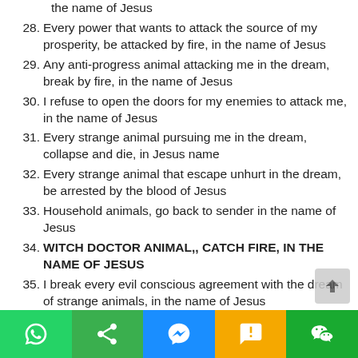the name of Jesus
28. Every power that wants to attack the source of my prosperity, be attacked by fire, in the name of Jesus
29. Any anti-progress animal attacking me in the dream, break by fire, in the name of Jesus
30. I refuse to open the doors for my enemies to attack me, in the name of Jesus
31. Every strange animal pursuing me in the dream, collapse and die, in Jesus name
32. Every strange animal that escape unhurt in the dream, be arrested by the blood of Jesus
33. Household animals, go back to sender in the name of Jesus
34. WITCH DOCTOR ANIMAL,, CATCH FIRE, IN THE NAME OF JESUS
35. I break every evil conscious agreement with the dream of strange animals, in the name of Jesus